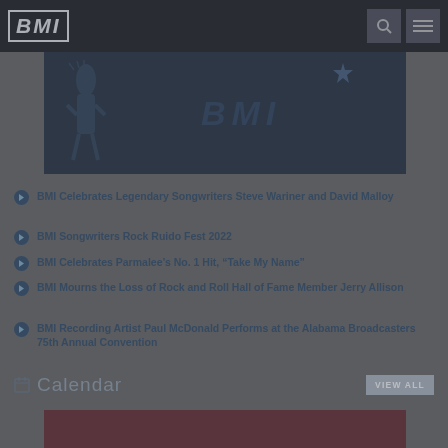BMI
[Figure (illustration): BMI branded banner with decorative figure and star graphic on dark navy background]
BMI Celebrates Legendary Songwriters Steve Wariner and David Malloy
BMI Songwriters Rock Ruido Fest 2022
BMI Celebrates Parmalee’s No. 1 Hit, “Take My Name”
BMI Mourns the Loss of Rock and Roll Hall of Fame Member Jerry Allison
BMI Recording Artist Paul McDonald Performs at the Alabama Broadcasters 75th Annual Convention
Calendar
[Figure (photo): Partial view of a red-toned event photo at the bottom of the page]